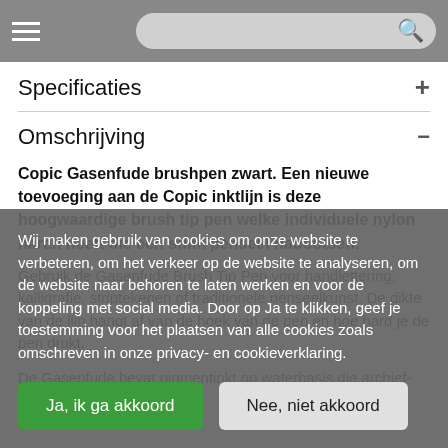Specificaties
Omschrijving
Copic Gasenfude brushpen zwart. Een nieuwe toevoeging aan de Copic inktlijn is deze hoogwaardige brush tip pen welke individuele nylon haren heeft die een sumi penseel nabootsen.
Gebruik de Gasenfude Brush Tip Pen voor handlettering, kalligrafie, striptekenen of traditionele penseelkunst. De dikte van de lijn hangt af van de hoek van de pen en hoe hard je de pen drukt.
De Gasenfude bevat pigmentinkt op waterbasis die archief- en compatibel
Wij maken gebruik van cookies om onze website te verbeteren, om het verkeer op de website te analyseren, om de website naar behoren te laten werken en voor de koppeling met social media. Door op Ja te klikken, geef je toestemming voor het plaatsen van alle cookies zoals omschreven in onze privacy- en cookieverklaring.
Ja, ik ga akkoord
Nee, niet akkoord